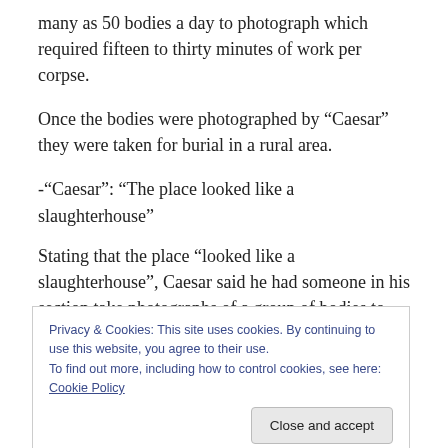many as 50 bodies a day to photograph which required fifteen to thirty minutes of work per corpse.
Once the bodies were photographed by “Caesar” they were taken for burial in a rural area.
-“Caesar”: “The place looked like a slaughterhouse”
Stating that the place “looked like a slaughterhouse”, Caesar said he had someone in his section take photographs of a group of bodies to show that the place “looked like a slaughterhouse”. The excuse he gave for
Privacy & Cookies: This site uses cookies. By continuing to use this website, you agree to their use.
To find out more, including how to control cookies, see here: Cookie Policy
sake of Syria and the Syrian people so that the killers